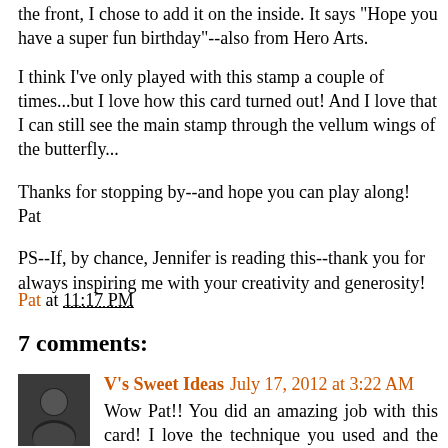the front, I chose to add it on the inside. It says "Hope you have a super fun birthday"--also from Hero Arts.
I think I've only played with this stamp a couple of times...but I love how this card turned out! And I love that I can still see the main stamp through the vellum wings of the butterfly...
Thanks for stopping by--and hope you can play along!
Pat
PS--If, by chance, Jennifer is reading this--thank you for always inspiring me with your creativity and generosity!
Pat at 11:17 PM
7 comments:
V's Sweet Ideas   July 17, 2012 at 3:22 AM
Wow Pat!! You did an amazing job with this card! I love the technique you used and the butterfly is just beautiful! Thank you for joining us this week at V's Sweet Challenge!